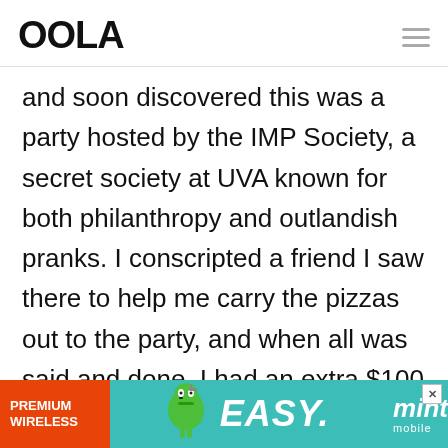OOLA
and soon discovered this was a party hosted by the IMP Society, a secret society at UVA known for both philanthropy and outlandish pranks. I conscripted a friend I saw there to help me carry the pizzas out to the party, and when all was said and done, I had an extra $100
[Figure (infographic): Advertisement banner for Mint Mobile showing 'PREMIUM WIRELESS' in orange section, cartoon character, 'EASY.' text in large white font, and Mint Mobile logo on teal background]